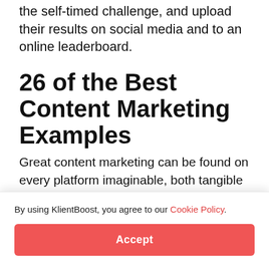the self-timed challenge, and upload their results on social media and to an online leaderboard.
26 of the Best Content Marketing Examples
Great content marketing can be found on every platform imaginable, both tangible and digital. Learn from the successes of the best of the best with these 15 examples of the best content marketing, on every platform.
By using KlientBoost, you agree to our Cookie Policy.
Accept